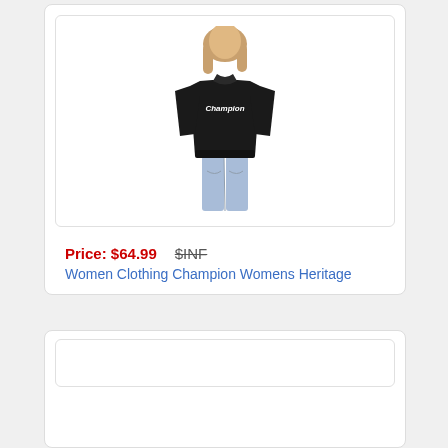[Figure (photo): Woman wearing a black Champion branded jacket, shown from behind, paired with light blue jeans. The Champion logo is visible on the back of the jacket.]
Price: $64.99  $INF
Women Clothing Champion Womens Heritage
[Figure (photo): Second product card image area, partially visible at bottom of page.]